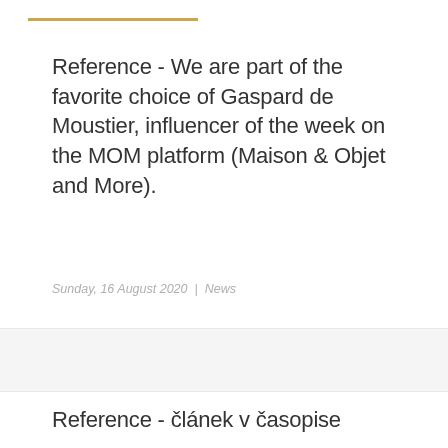Reference - We are part of the favorite choice of Gaspard de Moustier, influencer of the week on the MOM platform (Maison & Objet and More).
Sunday, 16 August 2020  |  News
Reference - článek v časopise